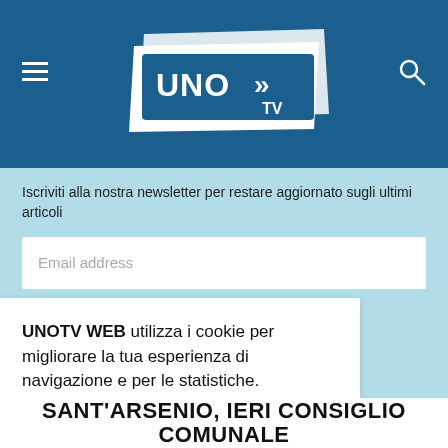[Figure (logo): UNO TV logo - white text on blue background with double arrow chevrons, on a dark blue header bar]
Iscriviti alla nostra newsletter per restare aggiornato sugli ultimi articoli
Email address
ISCRIVITI
UNOTV WEB utilizza i cookie per migliorare la tua esperienza di navigazione e per le statistiche.
Impostazioni
Accetto
SANT'ARSENIO, IERI CONSIGLIO COMUNALE